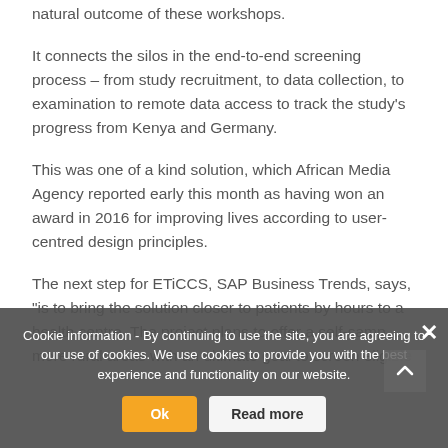natural outcome of these workshops.
It connects the silos in the end-to-end screening process – from study recruitment, to data collection, to examination to remote data access to track the study's progress from Kenya and Germany.
This was one of a kind solution, which African Media Agency reported early this month as having won an award in 2016 for improving lives according to user-centred design principles.
The next step for ETiCCS, SAP Business Trends, says, "is to bring the solution closer to patients by hours to a health centre. The project plans to offer a self-samp... more rural areas with an ultimate goal to screen eligible
Cookie information - By continuing to use the site, you are agreeing to our use of cookies. We use cookies to provide you with the best experience and functionality on our website.